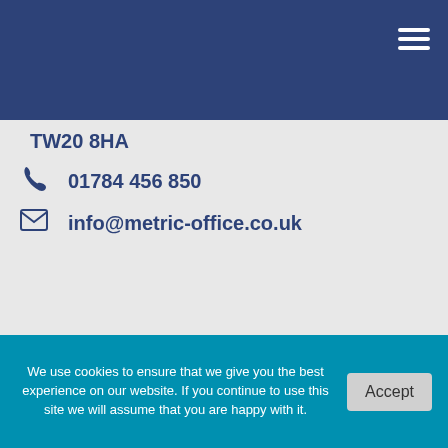Navigation menu header bar with hamburger icon
TW20 8HA
01784 456 850
info@metric-office.co.uk
Services
Brands
We use cookies to ensure that we give you the best experience on our website. If you continue to use this site we will assume that you are happy with it.